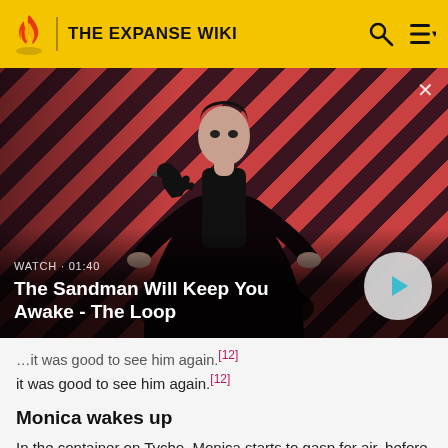THE EXPANSE WIKI
[Figure (screenshot): Video thumbnail for 'The Sandman Will Keep You Awake - The Loop' with WATCH · 01:40 label and a play button. Shows a dark figure against a red diagonal-striped background.]
it was good to see him again.[12]
Monica wakes up
In the container on Tycho, Monica starts to gasp for air, before she seemingly loses consciousness. At the